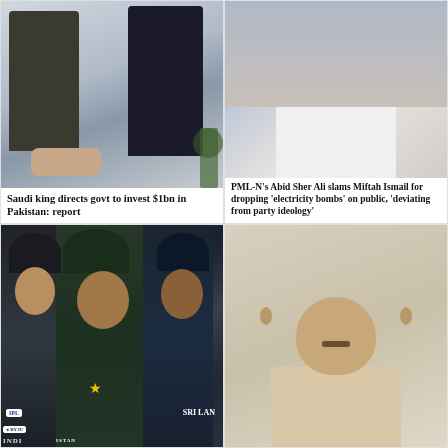[Figure (photo): Two men in suits shaking hands in an official meeting setting]
Saudi king directs govt to invest $1bn in Pakistan: report
[Figure (photo): Man in white kurta sitting, PML-N politician Abid Sher Ali]
PML-N's Abid Sher Ali slams Miftah Ismail for dropping 'electricity bombs' on public, 'deviating from party ideology'
[Figure (photo): Three cricket players from India (Virat Kohli), Pakistan (Babar Azam), and Sri Lanka; IPL and BYJU logos visible]
[Figure (photo): Close-up photo of Shehbaz Sharif]